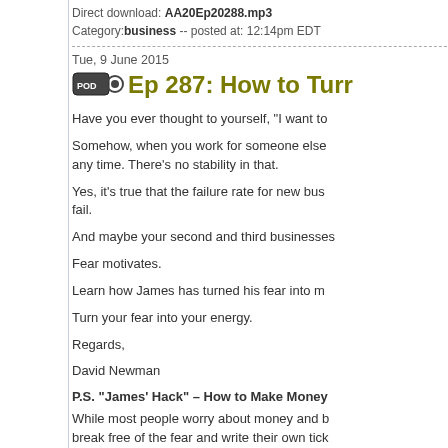Direct download: AA20Ep20288.mp3
Category: business -- posted at: 12:14pm EDT
Tue, 9 June 2015
Ep 287: How to Turn
Have you ever thought to yourself, "I want to
Somehow, when you work for someone else any time. There's no stability in that.
Yes, it's true that the failure rate for new bus fail.
And maybe your second and third businesses
Fear motivates.
Learn how James has turned his fear into m
Turn your fear into your energy.
Regards,
David Newman
P.S. "James' Hack" – How to Make Money
While most people worry about money and b break free of the fear and write their own tick controversial path, you too could become a m
If you are looking to make more money, or p wondering where the "American Dream" is h
----------------------------Recommended Resource